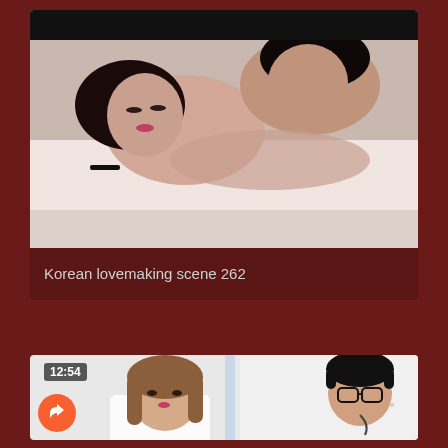[Figure (photo): Video thumbnail showing two people lying in bed together under white covers, intimate scene]
Korean lovemaking scene 262
[Figure (photo): Video thumbnail showing two people standing, a woman with brown shoulder-length hair on the left and a person with glasses and short dark hair on the right, with a 12:54 timestamp overlay]